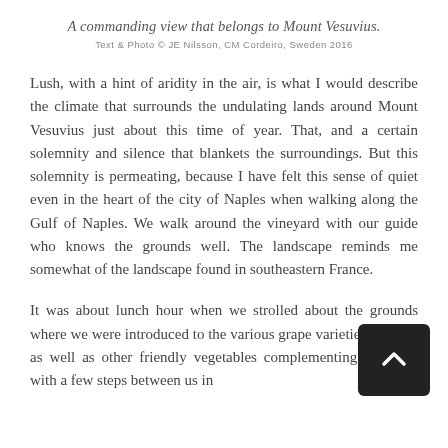A commanding view that belongs to Mount Vesuvius.
Text & Photo © JE Nilsson, CM Cordeiro, Sweden 2016
Lush, with a hint of aridity in the air, is what I would describe the climate that surrounds the undulating lands around Mount Vesuvius just about this time of year. That, and a certain solemnity and silence that blankets the surroundings. But this solemnity is permeating, because I have felt this sense of quiet even in the heart of the city of Naples when walking along the Gulf of Naples. We walk around the vineyard with our guide who knows the grounds well. The landscape reminds me somewhat of the landscape found in southeastern France.
It was about lunch hour when we strolled about the grounds where we were introduced to the various grape varieties planted, as well as other friendly vegetables complementing. Walking with a few steps between us in